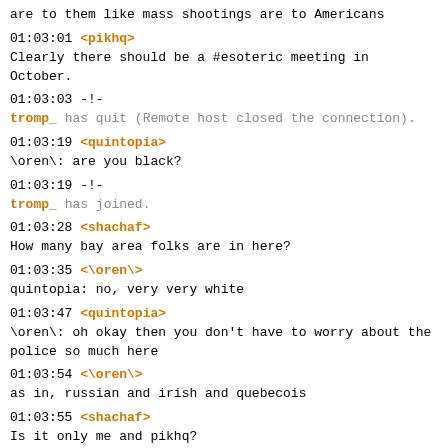are to them like mass shootings are to Americans
01:03:01 <pikhq>
Clearly there should be a #esoteric meeting in October.
01:03:03 -!-
tromp_ has quit (Remote host closed the connection).
01:03:19 <quintopia>
\oren\: are you black?
01:03:19 -!-
tromp_ has joined.
01:03:28 <shachaf>
How many bay area folks are in here?
01:03:35 <\oren\>
quintopia: no, very very white
01:03:47 <quintopia>
\oren\: oh okay then you don't have to worry about the police so much here
01:03:54 <\oren\>
as in, russian and irish and quebecois
01:03:55 <shachaf>
Is it only me and pikhq?
01:04:06 <fizzie>
There was supposed to be a meet-up in Birmingham, but it didn't happen.
01:04:13 -!-